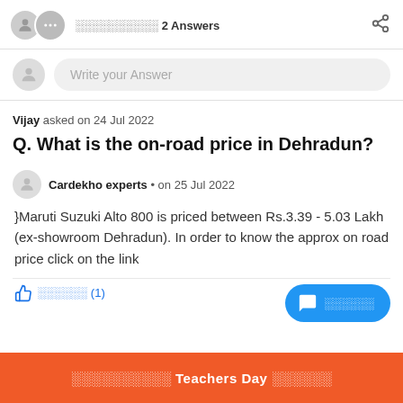░░░░░░░░░░ 2 Answers
Write your Answer
Vijay asked on 24 Jul 2022
Q. What is the on-road price in Dehradun?
Cardekho experts • on 25 Jul 2022
}Maruti Suzuki Alto 800 is priced between Rs.3.39 - 5.03 Lakh (ex-showroom Dehradun). In order to know the approx on road price click on the link
░░░░░░ (1)
░░░░░░
░░░░░░░░░░ Teachers Day ░░░░░░